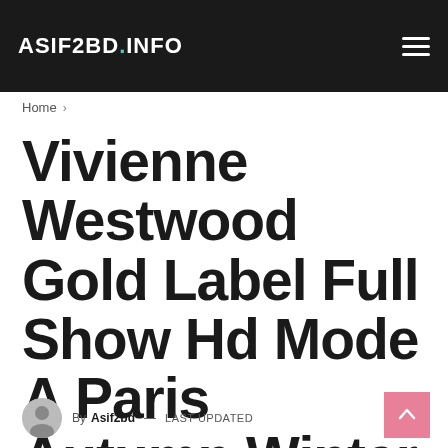ASIF2BD.INFO
Home >
Vivienne Westwood Gold Label Full Show Hd Mode A Paris Autumn Winter 2014 2015 By Fashion Channel
By Asif2bd — LAST UPDATED